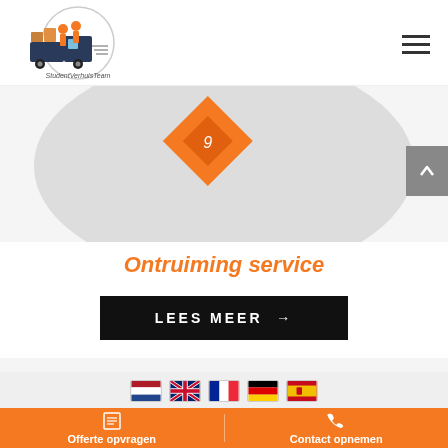[Figure (logo): StudentVerhuisTeam logo with truck and students]
[Figure (illustration): Orange diamond/arrow shape with text, large grey circle background]
Ontruiming service
LEES MEER →
[Figure (infographic): Language selection flags: Dutch, English, French, German, Spanish]
Offerte opvragen
Contact opnemen